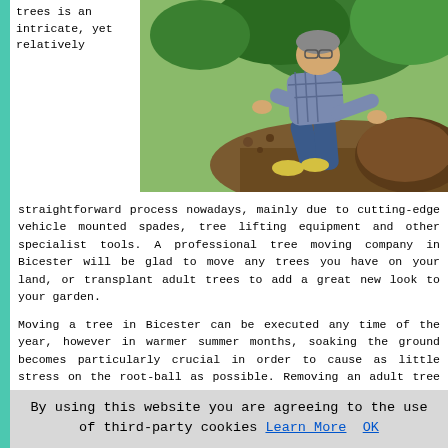trees is an intricate, yet relatively
[Figure (photo): A man crouching down examining the root ball of a tree in a garden, with soil and green shrubs visible]
straightforward process nowadays, mainly due to cutting-edge vehicle mounted spades, tree lifting equipment and other specialist tools. A professional tree moving company in Bicester will be glad to move any trees you have on your land, or transplant adult trees to add a great new look to your garden.
Moving a tree in Bicester can be executed any time of the year, however in warmer summer months, soaking the ground becomes particularly crucial in order to cause as little stress on the root-ball as possible. Removing an adult tree involves a mechanical tree spade digging down and encompassing the main root-ball, before lifting the entire tree, unharmed, from the earth. If the tree is not to be
By using this website you are agreeing to the use of third-party cookies Learn More OK